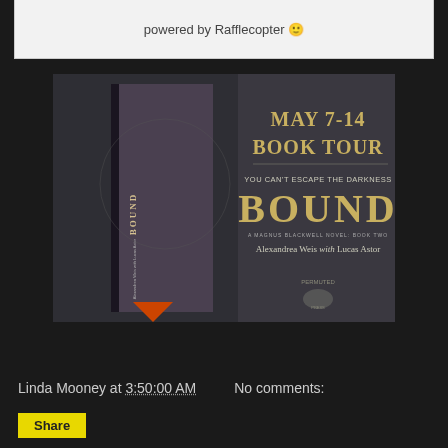powered by Rafflecopter
[Figure (illustration): Book tour promotional banner for 'BOUND' by Alexandrea Weis with Lucas Astor. Shows book cover with blonde woman and dark-suited man, alongside text: MAY 7-14 BOOK TOUR, YOU CAN'T ESCAPE THE DARKNESS, BOUND, A Magnus Blackwell Novel: Book Two, Alexandrea Weis with Lucas Astor, with publisher logo.]
Linda Mooney at 3:50:00 AM   No comments:
Share